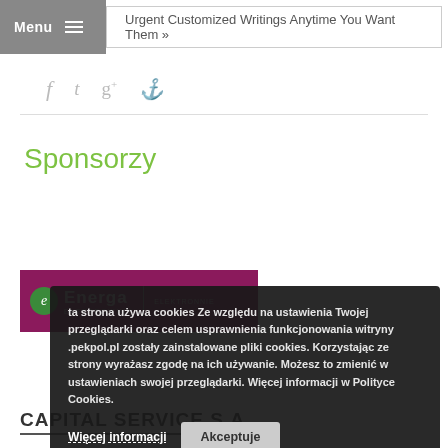Menu | Urgent Customized Writings Anytime You Want Them »
[Figure (other): Social media icons: facebook (f), twitter (t), google+ (g+), pinterest (p)]
Sponsorzy
[Figure (logo): Energa ELEKTROWNIE logo on magenta/purple background]
[Figure (other): Cookie consent overlay with text and buttons: Więcej informacji, Akceptuje]
[Figure (logo): CAPITAL SERVICE S.A. logo]